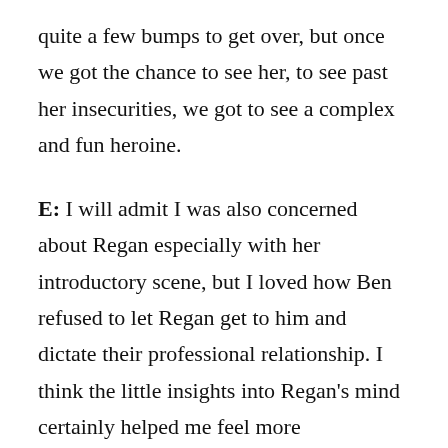quite a few bumps to get over, but once we got the chance to see her, to see past her insecurities, we got to see a complex and fun heroine.
E: I will admit I was also concerned about Regan especially with her introductory scene, but I loved how Ben refused to let Regan get to him and dictate their professional relationship. I think the little insights into Regan's mind certainly helped me feel more sympathetic towards her character and see her actions as part of the whole not her entire person. The fact that Ben had gone through a trial by fire at a relatively young age meant he was able to recognize some of Regan's actions as symptoms of a greater issue but that didn't mean